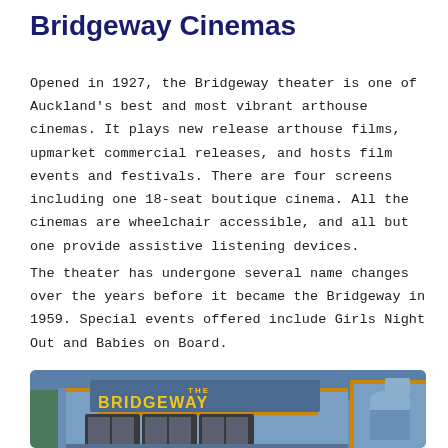Bridgeway Cinemas
Opened in 1927, the Bridgeway theater is one of Auckland's best and most vibrant arthouse cinemas. It plays new release arthouse films, upmarket commercial releases, and hosts film events and festivals. There are four screens including one 18-seat boutique cinema. All the cinemas are wheelchair accessible, and all but one provide assistive listening devices.
The theater has undergone several name changes over the years before it became the Bridgeway in 1959. Special events offered include Girls Night Out and Babies on Board.
[Figure (photo): Exterior view of the Bridgeway cinema entrance showing the illuminated yellow 'THE BRIDGEWAY' sign above the entrance doors, with blue walls and an orange-trimmed arch on the right side.]